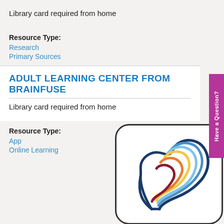Library card required from home
Resource Type:
Research
Primary Sources
ADULT LEARNING CENTER FROM BRAINFUSE
Library card required from home
Resource Type:
App
Online Learning
[Figure (logo): Brainfuse Adult Learning Center logo: a stylized human head profile made of colorful curved lines in dark blue, red, orange, yellow, light blue colors on white rounded-square background]